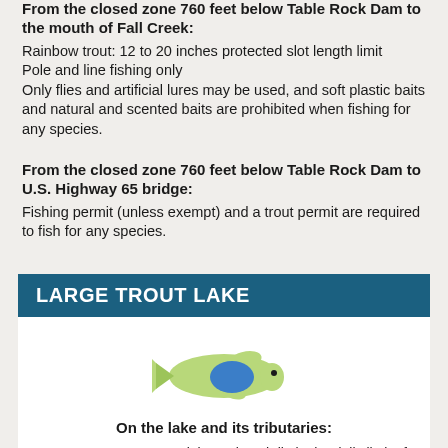From the closed zone 760 feet below Table Rock Dam to the mouth of Fall Creek:
Rainbow trout: 12 to 20 inches protected slot length limit
Pole and line fishing only
Only flies and artificial lures may be used, and soft plastic baits and natural and scented baits are prohibited when fishing for any species.
From the closed zone 760 feet below Table Rock Dam to U.S. Highway 65 bridge:
Fishing permit (unless exempt) and a trout permit are required to fish for any species.
LARGE TROUT LAKE
[Figure (illustration): Stylized fish icon with light green body and blue oval shape on its side, representing a trout]
On the lake and its tributaries:
Brown trout—20" minimum length limit; the daily limit of 4 trout,